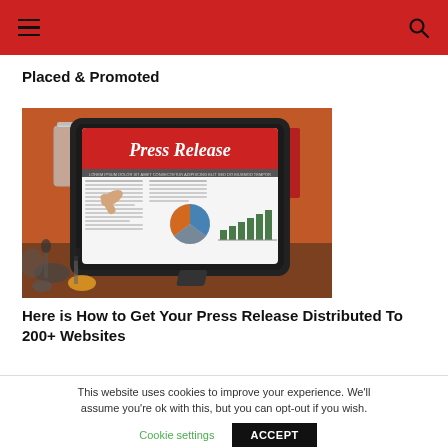☰  [search icon]
Placed & Promoted
[Figure (photo): A tablet standing on a wooden desk displaying a 'Press Release' newspaper page with text columns, a pie chart and a bar chart. A glass of water is visible in the background along with blurred reporters with microphones in the foreground.]
Here is How to Get Your Press Release Distributed To 200+ Websites
This website uses cookies to improve your experience. We'll assume you're ok with this, but you can opt-out if you wish.
Cookie settings    ACCEPT